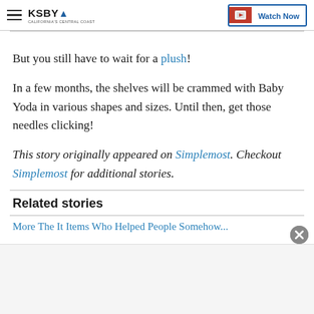KSBY — California's Central Coast | Watch Now
But you still have to wait for a plush!
In a few months, the shelves will be crammed with Baby Yoda in various shapes and sizes. Until then, get those needles clicking!
This story originally appeared on Simplemost. Checkout Simplemost for additional stories.
Related stories
More The Items Who Helped People Somehow...